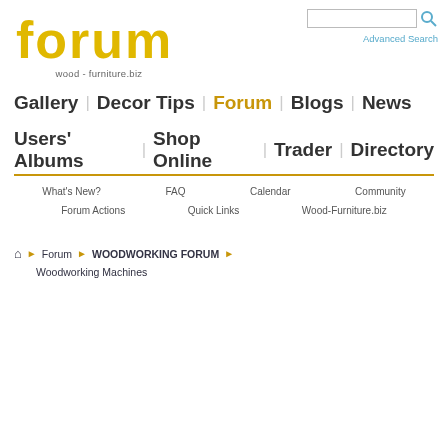[Figure (logo): Forum logo with stylized 'forum' text in yellow/gold and subtitle 'wood - furniture.biz']
Advanced Search
Gallery | Decor Tips | Forum | Blogs | News
Users' Albums | Shop Online | Trader | Directory
What's New?   FAQ   Calendar   Community
Forum Actions   Quick Links   Wood-Furniture.biz
Forum > WOODWORKING FORUM > Woodworking Machines